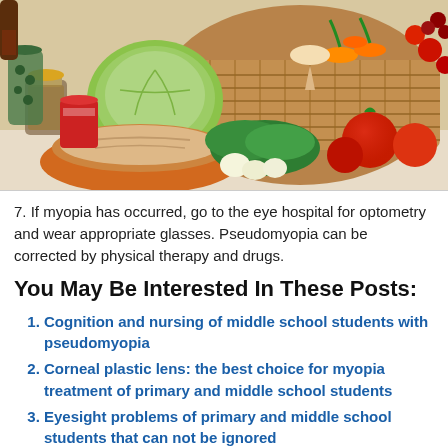[Figure (photo): A wicker basket filled with assorted fresh vegetables and fruits including tomatoes, carrots, cabbage, parsley, garlic, alongside bread loaf, jars of preserved foods on a white surface.]
7. If myopia has occurred, go to the eye hospital for optometry and wear appropriate glasses. Pseudomyopia can be corrected by physical therapy and drugs.
You May Be Interested In These Posts:
Cognition and nursing of middle school students with pseudomyopia
Corneal plastic lens: the best choice for myopia treatment of primary and middle school students
Eyesight problems of primary and middle school students that can not be ignored